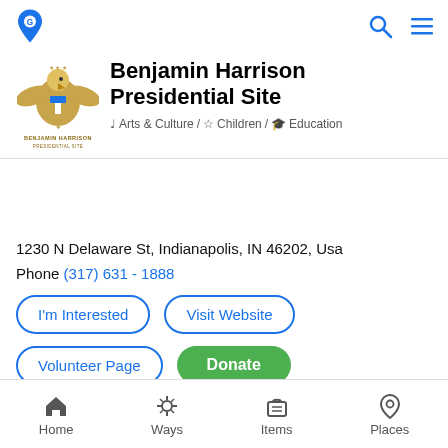Benjamin Harrison Presidential Site
Arts & Culture / Children / Education
1230 N Delaware St, Indianapolis, IN 46202, Usa
Phone (317) 631 - 1888
I'm Interested
Visit Website
Volunteer Page
Donate
Our mission
The mission of the Benjamin Harrison Presidential Site...
Home | Ways | Items | Places